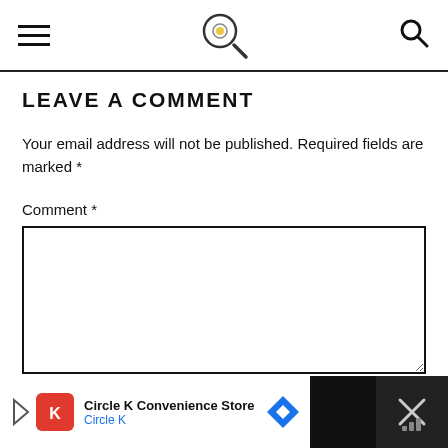Navigation bar with hamburger menu, magnifying glass logo icon, and search icon
LEAVE A COMMENT
Your email address will not be published. Required fields are marked *
Comment *
[Figure (screenshot): Empty comment text area input box with dark border]
Circle K Convenience Store — Circle K (advertisement banner)